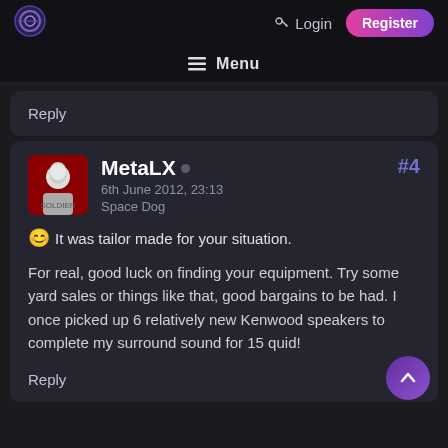Login  Register
≡ Menu
Reply
MetaLX • #4
6th June 2012, 23:13
Space Dog
😊 It was tailor made for your situation.
For real, good luck on finding your equipment. Try some yard sales or things like that, good bargains to be had. I once picked up 6 relatively new Kenwood speakers to complete my surround sound for 15 quid!
Reply